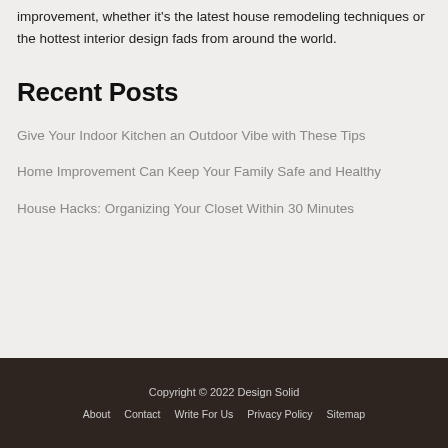improvement, whether it's the latest house remodeling techniques or the hottest interior design fads from around the world.
Recent Posts
Give Your Indoor Kitchen an Outdoor Vibe with These Tips
Home Improvement Can Keep Your Family Safe and Healthy
House Hacks: Organizing Your Closet Within 30 Minutes
Copyright © 2022 Design Solid | About | Contact | Write For Us | Privacy Policy | Sitemap